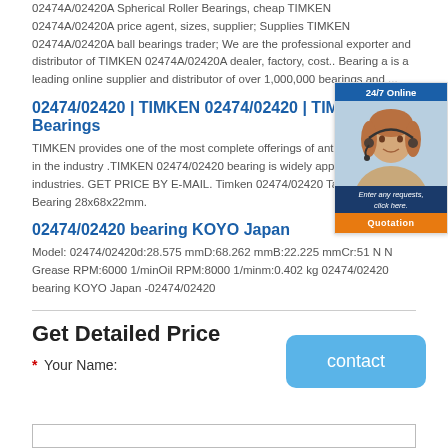02474A/02420A Spherical Roller Bearings, cheap TIMKEN 02474A/02420A price agent, sizes, supplier; Supplies TIMKEN 02474A/02420A ball bearings trader; We are the professional exporter and distributor of TIMKEN 02474A/02420A dealer, factory, cost.. Bearing a is a leading online supplier and distributor of over 1,000,000 bearings and ...
02474/02420 | TIMKEN 02474/02420 | TIMKEN Bearings
TIMKEN provides one of the most complete offerings of antifriction b... in the industry .TIMKEN 02474/02420 bearing is widely applied to div... industries. GET PRICE BY E-MAIL. Timken 02474/02420 Tapered Rolle... Bearing 28x68x22mm.
02474/02420 bearing KOYO Japan
Model: 02474/02420d:28.575 mmD:68.262 mmB:22.225 mmCr:51 N N Grease RPM:6000 1/minOil RPM:8000 1/minm:0.402 kg 02474/02420 bearing KOYO Japan -02474/02420
[Figure (illustration): 24/7 Online chat widget with a customer service representative photo, a text message 'Enter any requests, click here.' and an orange 'Quotation' button]
Get Detailed Price
* Your Name:
[Figure (screenshot): Blue 'contact' button, rounded rectangle]
(input field)